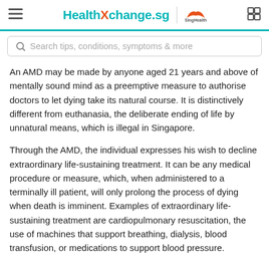HealthXchange.sg | SingHealth
An AMD may be made by anyone aged 21 years and above of mentally sound mind as a preemptive measure to authorise doctors to let dying take its natural course. It is distinctively different from euthanasia, the deliberate ending of life by unnatural means, which is illegal in Singapore.
Through the AMD, the individual expresses his wish to decline extraordinary life-sustaining treatment. It can be any medical procedure or measure, which, when administered to a terminally ill patient, will only prolong the process of dying when death is imminent. Examples of extraordinary life-sustaining treatment are cardiopulmonary resuscitation, the use of machines that support breathing, dialysis, blood transfusion, or medications to support blood pressure.